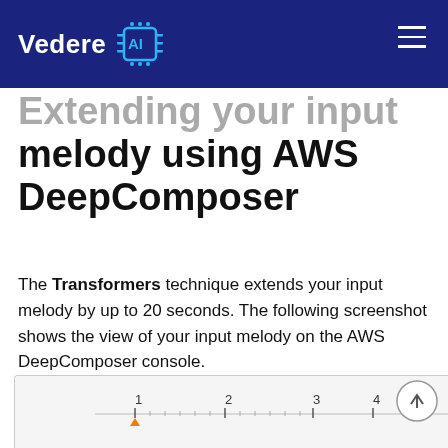Vedere AI
Extending your input melody using AWS DeepComposer
The Transformers technique extends your input melody by up to 20 seconds. The following screenshot shows the view of your input melody on the AWS DeepComposer console.
[Figure (screenshot): Screenshot of AWS DeepComposer console showing input melody with ruler/timeline numbered 1 through 5]